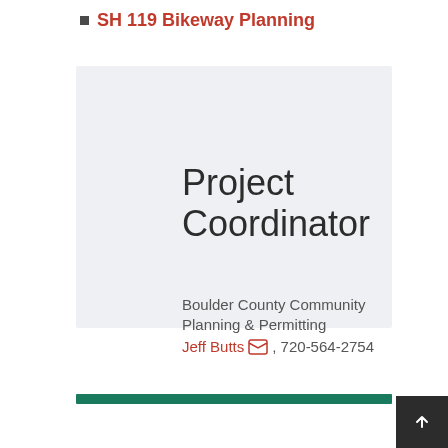SH 119 Bikeway Planning
Project Coordinator
Boulder County Community
Planning & Permitting
Jeff Butts, 720-564-2754